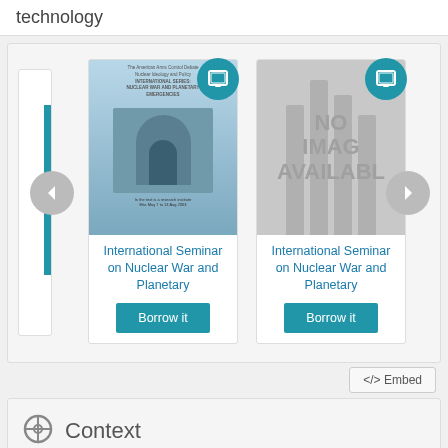technology
[Figure (screenshot): Carousel of library books available to borrow. Shows two book cards for 'International Seminar on Nuclear War and Planetary' with 'Borrow it' buttons, navigation arrows, and tablet badges. Second card shows 'NO IMAGE AVAILABLE' placeholder.]
</> Embed
Context